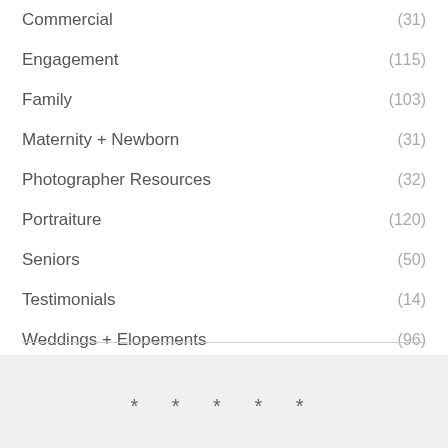Commercial (31)
Engagement (115)
Family (103)
Maternity + Newborn (31)
Photographer Resources (32)
Portraiture (120)
Seniors (50)
Testimonials (14)
Weddings + Elopements (96)
* * * * *